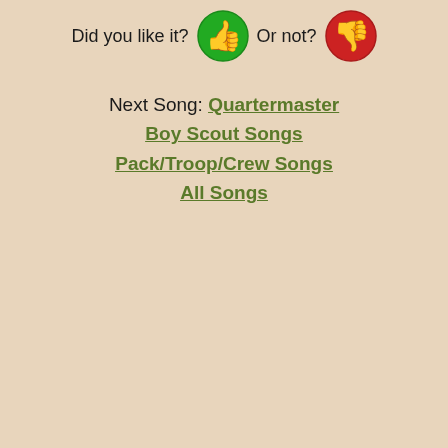Did you like it?  Or not?
Next Song: Quartermaster
Boy Scout Songs
Pack/Troop/Crew Songs
All Songs